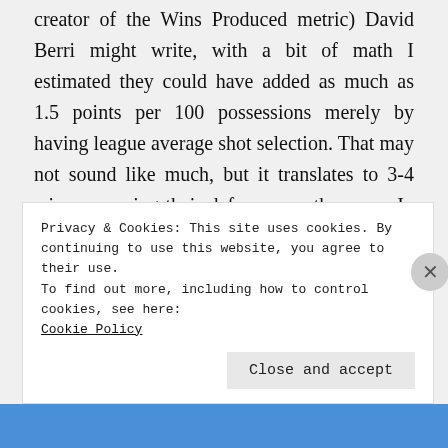creator of the Wins Produced metric) David Berri might write, with a bit of math I estimated they could have added as much as 1.5 points per 100 possessions merely by having league average shot selection. That may not sound like much, but it translates to 3-4 wins, assuming their defense was the same. In other words, 49-50 wins instead of 46.
So, why am I projecting 42 wins this year
Privacy & Cookies: This site uses cookies. By continuing to use this website, you agree to their use.
To find out more, including how to control cookies, see here:
Cookie Policy